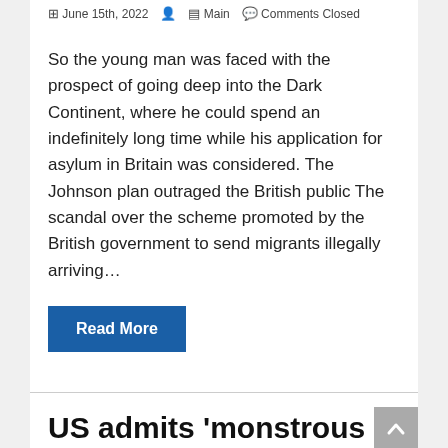June 15th, 2022  Main  Comments Closed
So the young man was faced with the prospect of going deep into the Dark Continent, where he could spend an indefinitely long time while his application for asylum in Britain was considered. The Johnson plan outraged the British public The scandal over the scheme promoted by the British government to send migrants illegally arriving…
Read More
US admits 'monstrous mistake' against Putin